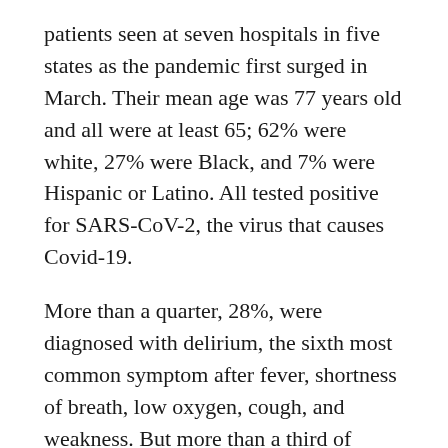patients seen at seven hospitals in five states as the pandemic first surged in March. Their mean age was 77 years old and all were at least 65; 62% were white, 27% were Black, and 7% were Hispanic or Latino. All tested positive for SARS-CoV-2, the virus that causes Covid-19.
More than a quarter, 28%, were diagnosed with delirium, the sixth most common symptom after fever, shortness of breath, low oxygen, cough, and weakness. But more than a third of patients with delirium had none of those more typical signs of Covid-19. Delirium was their sole symptom.
“One of our main messages, especially right now, is to really try to screen everyone, older adults especially,” said Benjamin Helfand, a study co-author and an M.D.-Ph.D. candidate at the University of Massachusetts Medical School. “People coming in with even those atypical